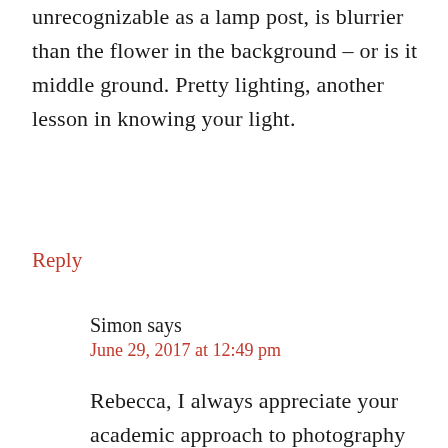unrecognizable as a lamp post, is blurrier than the flower in the background – or is it middle ground. Pretty lighting, another lesson in knowing your light.
Reply
Simon says
June 29, 2017 at 12:49 pm
Rebecca, I always appreciate your academic approach to photography :) I don't think I ever saw this as a study in repetitive shapes, but now